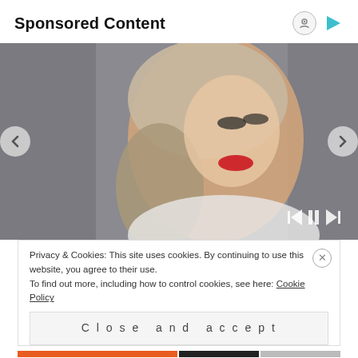Sponsored Content
[Figure (photo): Portrait photo of a young blonde woman with red lipstick, looking upward, on gray background. Media player controls visible at bottom right.]
Privacy & Cookies: This site uses cookies. By continuing to use this website, you agree to their use.
To find out more, including how to control cookies, see here: Cookie Policy
Close and accept